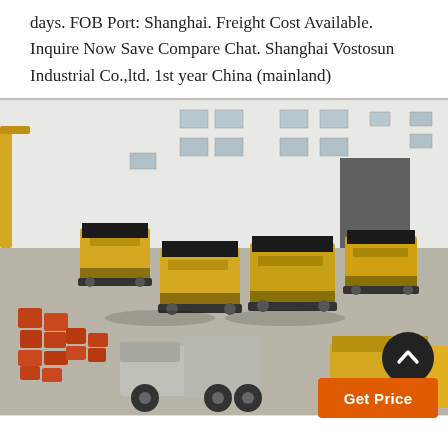days. FOB Port: Shanghai. Freight Cost Available. Inquire Now Save Compare Chat. Shanghai Vostosun Industrial Co.,ltd. 1st year China (mainland)
[Figure (photo): Aerial view of a factory yard showing multiple yellow industrial crushers/mining machines arranged in rows, with orange/red equipment parts stacked in the foreground, and a large white industrial building in the background.]